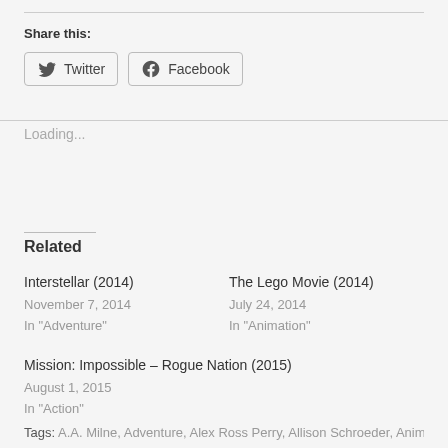Share this:
Twitter  Facebook
Loading...
Related
Interstellar (2014)
November 7, 2014
In "Adventure"
The Lego Movie (2014)
July 24, 2014
In "Animation"
Mission: Impossible – Rogue Nation (2015)
August 1, 2015
In "Action"
Tags: A.A. Milne, Adventure, Alex Ross Perry, Allison Schroeder, Animation, Brad